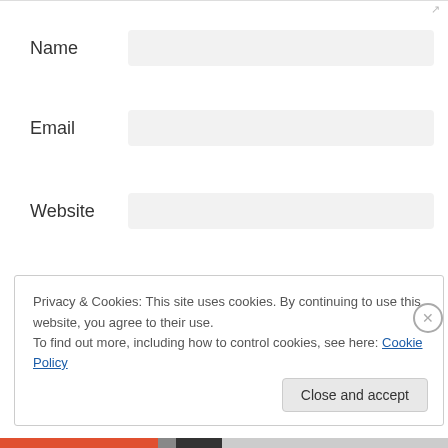Name
Email
Website
Post Comment
Privacy & Cookies: This site uses cookies. By continuing to use this website, you agree to their use.
To find out more, including how to control cookies, see here: Cookie Policy
Close and accept